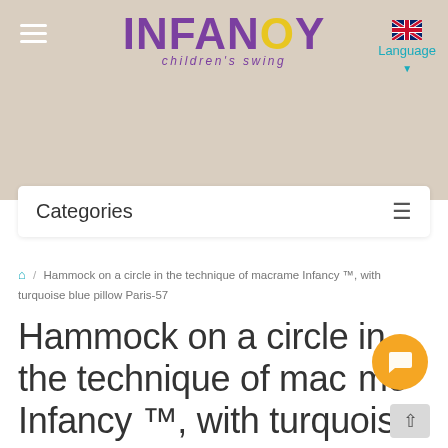INFANCY children's swing
Categories
🏠 / Hammock on a circle in the technique of macrame Infancy ™, with turquoise blue pillow Paris-57
Hammock on a circle in the technique of macrame Infancy ™, with turquoise blue pillow Paris-57